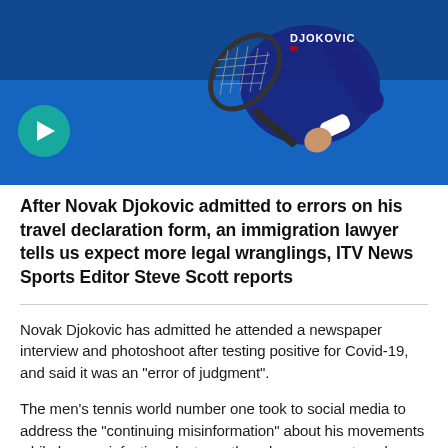[Figure (photo): Novak Djokovic in dark navy shirt with 'DJOKOVIC' name on back, holding tennis racket, playing on a blue court background. A teal play button overlay is visible in the lower left of the image.]
After Novak Djokovic admitted to errors on his travel declaration form, an immigration lawyer tells us expect more legal wranglings, ITV News Sports Editor Steve Scott reports
Novak Djokovic has admitted he attended a newspaper interview and photoshoot after testing positive for Covid-19, and said it was an "error of judgment".
The men's tennis world number one took to social media to address the "continuing misinformation" about his movements while he was infectious last month and errors on a travel declaration form he used to enter